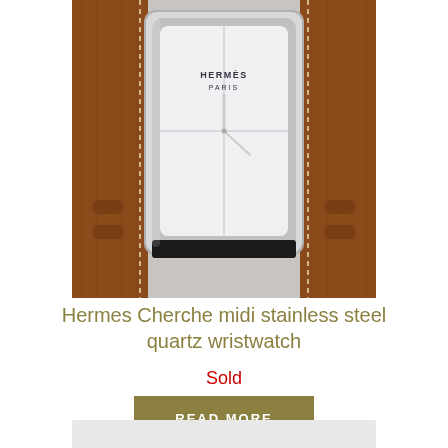[Figure (photo): Close-up photo of a Hermes Cherche midi wristwatch with stainless steel rectangular case, white dial with HERMES PARIS text and cross-hair grid lines, silver hands, on a brown leather strap with cream stitching]
Hermes Cherche midi stainless steel quartz wristwatch
Sold
READ MORE